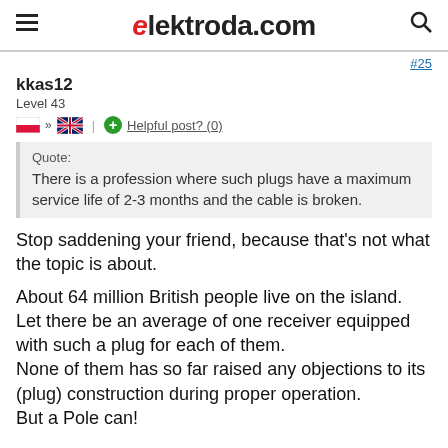elektroda.com
#25
kkas12
Level 43
Helpful post? (0)
Quote:
There is a profession where such plugs have a maximum service life of 2-3 months and the cable is broken.
Stop saddening your friend, because that's not what the topic is about.

About 64 million British people live on the island. Let there be an average of one receiver equipped with such a plug for each of them.
None of them has so far raised any objections to its (plug) construction during proper operation.
But a Pole can!